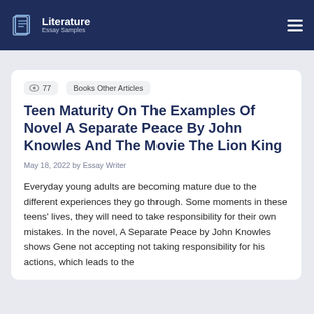Literature Essay Samples
77  Books Other Articles
Teen Maturity On The Examples Of Novel A Separate Peace By John Knowles And The Movie The Lion King
May 18, 2022 by Essay Writer
Everyday young adults are becoming mature due to the different experiences they go through. Some moments in these teens' lives, they will need to take responsibility for their own mistakes. In the novel, A Separate Peace by John Knowles shows Gene not accepting not taking responsibility for his actions, which leads to the...